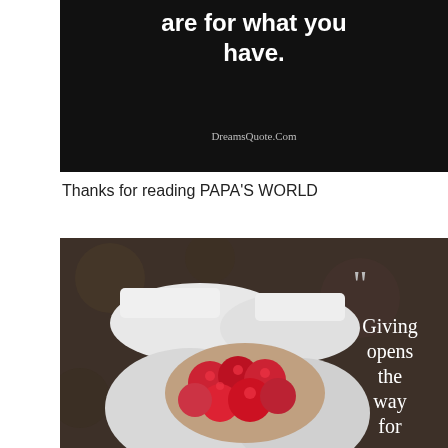[Figure (photo): Dark/black background image with white bold text showing 'are for what you have.' and 'DreamsQuote.Com' watermark at bottom]
Thanks for reading PAPA'S WORLD
[Figure (photo): Photo of hands holding red raspberries/berries with an overlaid quote beginning with large quotation marks and text 'Giving opens the way for']